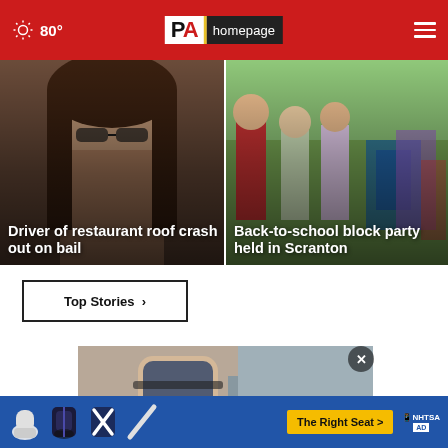80° PA homepage
[Figure (photo): Woman with long dark hair, close-up face photo — overlay headline: Driver of restaurant roof crash out on bail]
Driver of restaurant roof crash out on bail
[Figure (photo): Children at outdoor event with colorful bags/backpacks — overlay headline: Back-to-school block party held in Scranton]
Back-to-school block party held in Scranton
Top Stories ▸
[Figure (photo): Close-up of person wearing a boot/brace on leg, advertisement for car seat safety — The Right Seat > NHTSA ad]
The Right Seat > NHTSA